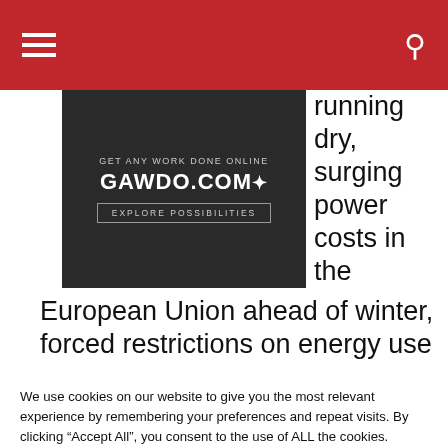Navigation bar with hamburger menu and search icon
[Figure (photo): Advertisement image for GAWDO.COM with text 'GET ANY WORK DONE ONLINE', 'GAWDO.COM', 'EXPLORE POSSIBILITIES' on dark background]
running dry, surging power costs in the European Union ahead of winter, forced restrictions on energy use in China and rising
We use cookies on our website to give you the most relevant experience by remembering your preferences and repeat visits. By clicking “Accept All”, you consent to the use of ALL the cookies. However, you may visit "Cookie Settings" to provide a controlled consent.
Cookie Settings    Accept All